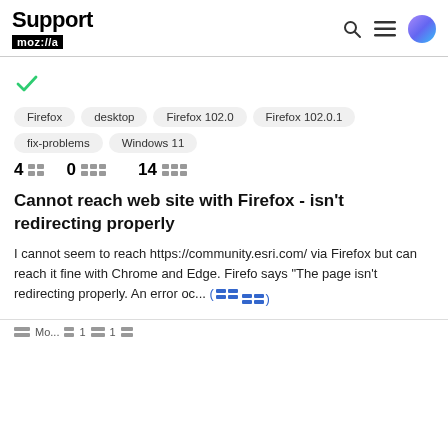Support mozilla://a
[Figure (other): Green checkmark icon]
Firefox
desktop
Firefox 102.0
Firefox 102.0.1
fix-problems
Windows 11
4  0  14
Cannot reach web site with Firefox - isn't redirecting properly
I cannot seem to reach https://community.esri.com/ via Firefox but can reach it fine with Chrome and Edge. Firefox says "The page isn't redirecting properly. An error oc... (more)